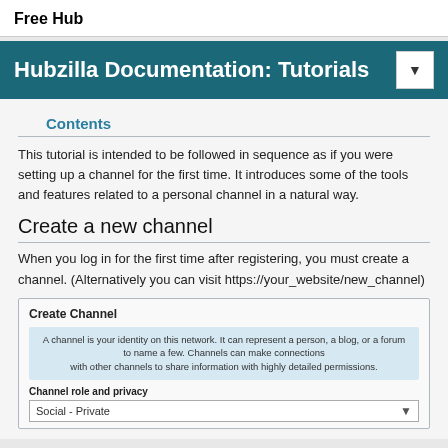Free Hub
Hubzilla Documentation: Tutorials
Contents
This tutorial is intended to be followed in sequence as if you were setting up a channel for the first time. It introduces some of the tools and features related to a personal channel in a natural way.
Create a new channel
When you log in for the first time after registering, you must create a channel. (Alternatively you can visit https://your_website/new_channel)
[Figure (screenshot): Create Channel form screenshot showing an info box explaining what a channel is, a 'Channel role and privacy' label, and a dropdown set to 'Social - Private']